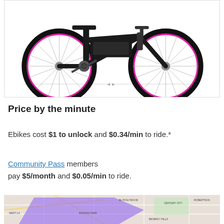[Figure (illustration): Side view illustration of an electric bike with pink/magenta wheel rims and black frame, with a speed line beneath it]
Price by the minute
Ebikes cost $1 to unlock and $0.34/min to ride.*
Community Pass members pay $5/month and $0.05/min to ride.
[Figure (map): Street map of Los Angeles area showing a purple shaded service zone region covering areas like Century City, Rancho Park, Beverly Hills, West Hollywood]